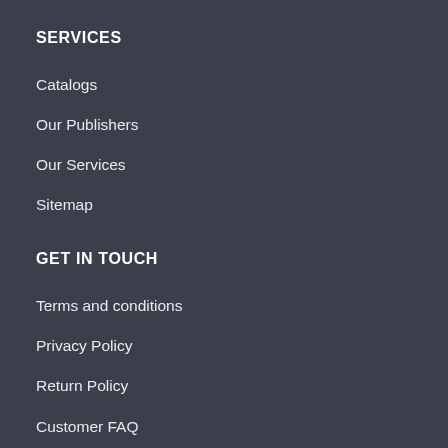SERVICES
Catalogs
Our Publishers
Our Services
Sitemap
GET IN TOUCH
Terms and conditions
Privacy Policy
Return Policy
Customer FAQ
LATEST UPDATES